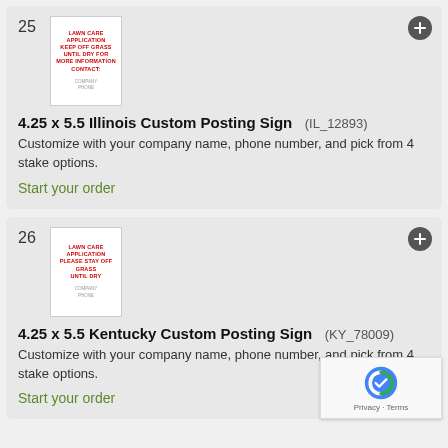[Figure (illustration): Lawn care application sign for Illinois - white background with red text: LAWN CARE APPLICATION KEEP OFF GRASS UNTIL DRY FOR MORE INFORMATION CONTACT: followed by gray company name and phone placeholder]
4.25 x 5.5 Illinois Custom Posting Sign   (IL_12893)
Customize with your company name, phone number, and pick from 4 stake options.
Start your order
[Figure (illustration): Lawn care application sign for Kentucky - white background with red text: LAWN CARE APPLICATION PLEASE STAY OFF GRASS UNTIL DRY followed by gray company name and phone placeholder]
4.25 x 5.5 Kentucky Custom Posting Sign   (KY_78009)
Customize with your company name, phone number, and pick from 4 stake options.
Start your order